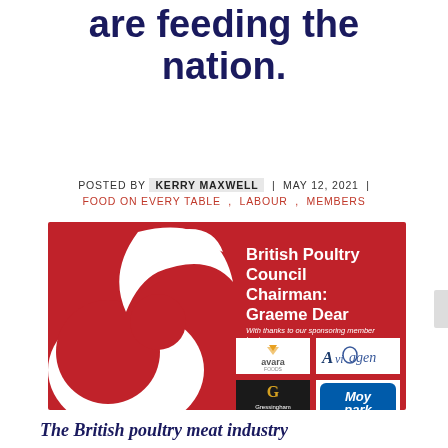are feeding the nation.
POSTED BY KERRY MAXWELL | MAY 12, 2021 | FOOD ON EVERY TABLE , LABOUR , MEMBERS
[Figure (illustration): British Poultry Council promotional image on red background showing a stylized white bird/chicken logo, text reading 'British Poultry Council Chairman: Graeme Dear', sponsor logos including Avara, Aviagen, Gressingham, and Moy Park]
The British poultry meat industry